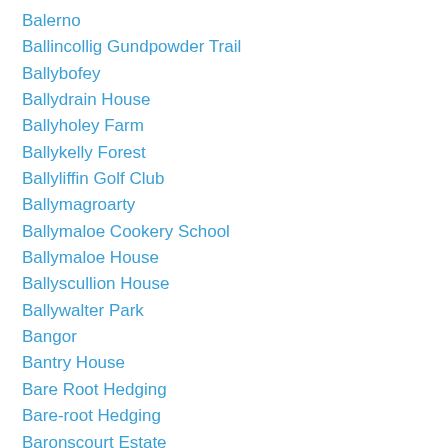Balerno
Ballincollig Gundpowder Trail
Ballybofey
Ballydrain House
Ballyholey Farm
Ballykelly Forest
Ballyliffin Golf Club
Ballymagroarty
Ballymaloe Cookery School
Ballymaloe House
Ballyscullion House
Ballywalter Park
Bangor
Bantry House
Bare Root Hedging
Bare-root Hedging
Baronscourt Estate
Barrack Hill Community Garden
Basil Sowing
Bay Road Country Park
Bbc Radio Foyle